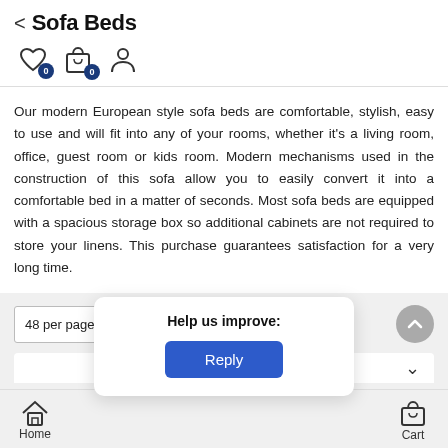Sofa Beds
[Figure (screenshot): Navigation icons row: heart icon with badge 0, shopping bag icon with badge 0, person/account icon]
Our modern European style sofa beds are comfortable, stylish, easy to use and will fit into any of your rooms, whether it's a living room, office, guest room or kids room. Modern mechanisms used in the construction of this sofa allow you to easily convert it into a comfortable bed in a matter of seconds. Most sofa beds are equipped with a spacious storage box so additional cabinets are not required to store your linens. This purchase guarantees satisfaction for a very long time.
[Figure (screenshot): Filter bar with '48 per page' dropdown and 'Filter' button with sliders icon, and scroll-up circular button]
Help us improve:
[Figure (screenshot): Reply button (blue rounded rectangle)]
[Figure (screenshot): Bottom navigation bar with Home icon and Cart icon]